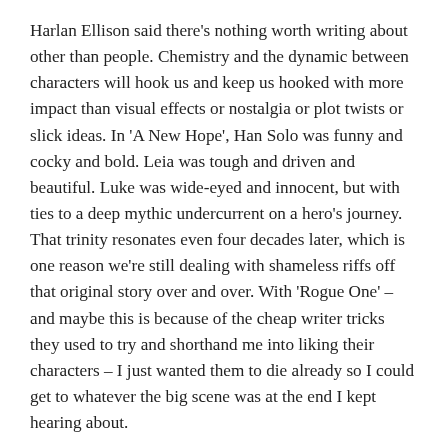Harlan Ellison said there's nothing worth writing about other than people. Chemistry and the dynamic between characters will hook us and keep us hooked with more impact than visual effects or nostalgia or plot twists or slick ideas. In 'A New Hope', Han Solo was funny and cocky and bold. Leia was tough and driven and beautiful. Luke was wide-eyed and innocent, but with ties to a deep mythic undercurrent on a hero's journey. That trinity resonates even four decades later, which is one reason we're still dealing with shameless riffs off that original story over and over. With 'Rogue One' – and maybe this is because of the cheap writer tricks they used to try and shorthand me into liking their characters – I just wanted them to die already so I could get to whatever the big scene was at the end I kept hearing about.